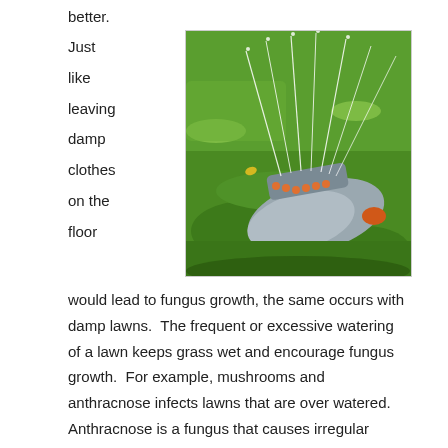better.
[Figure (photo): Close-up photo of a lawn sprinkler head lying on green grass, spraying water upward in streams.]
Just like leaving damp clothes on the floor would lead to fungus growth, the same occurs with damp lawns.  The frequent or excessive watering of a lawn keeps grass wet and encourage fungus growth.  For example, mushrooms and anthracnose infects lawns that are over watered.  Anthracnose is a fungus that causes irregular brown patches in the grass when